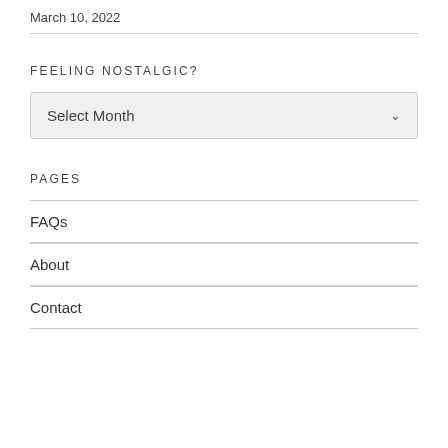March 10, 2022
FEELING NOSTALGIC?
Select Month
PAGES
FAQs
About
Contact